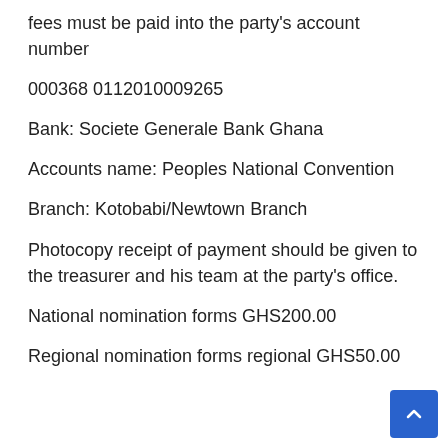fees must be paid into the party's account number
000368 0112010009265
Bank: Societe Generale Bank Ghana
Accounts name: Peoples National Convention
Branch: Kotobabi/Newtown Branch
Photocopy receipt of payment should be given to the treasurer and his team at the party's office.
National nomination forms GHS200.00
Regional nomination forms regional GHS50.00